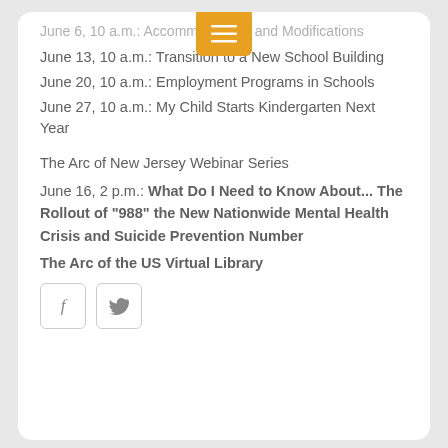June 6, 10 a.m.: Accommodations and Modifications
June 13, 10 a.m.: Transition to a New School Building
June 20, 10 a.m.: Employment Programs in Schools
June 27, 10 a.m.: My Child Starts Kindergarten Next Year
The Arc of New Jersey Webinar Series
June 16, 2 p.m.: What Do I Need to Know About... The Rollout of "988" the New Nationwide Mental Health Crisis and Suicide Prevention Number
The Arc of the US Virtual Library